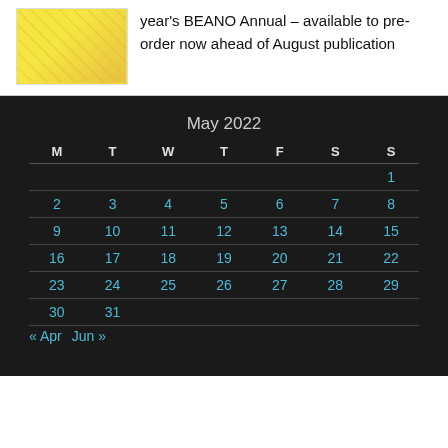[Figure (illustration): Cartoon characters including Beano characters (Dennis, Minnie, etc.) on yellow background]
year's BEANO Annual – available to pre-order now ahead of August publication
| M | T | W | T | F | S | S |
| --- | --- | --- | --- | --- | --- | --- |
|  |  |  |  |  |  | 1 |
| 2 | 3 | 4 | 5 | 6 | 7 | 8 |
| 9 | 10 | 11 | 12 | 13 | 14 | 15 |
| 16 | 17 | 18 | 19 | 20 | 21 | 22 |
| 23 | 24 | 25 | 26 | 27 | 28 | 29 |
| 30 | 31 |  |  |  |  |  |
« Apr   Jun »